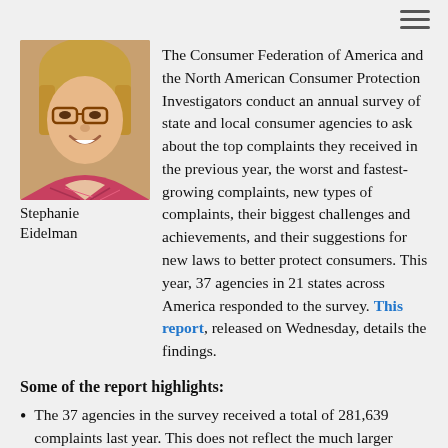[Figure (photo): Portrait photo of Stephanie Eidelman, a woman with glasses and short blonde hair, smiling, wearing a patterned top.]
Stephanie Eidelman
The Consumer Federation of America and the North American Consumer Protection Investigators conduct an annual survey of state and local consumer agencies to ask about the top complaints they received in the previous year, the worst and fastest-growing complaints, new types of complaints, their biggest challenges and achievements, and their suggestions for new laws to better protect consumers. This year, 37 agencies in 21 states across America responded to the survey. This report, released on Wednesday, details the findings.
Some of the report highlights:
The 37 agencies in the survey received a total of 281,639 complaints last year. This does not reflect the much larger number of consumers who benefitted from enforcement actions that the agencies took or the public education they provided.
Based on figures provided by 35 agencies, the total